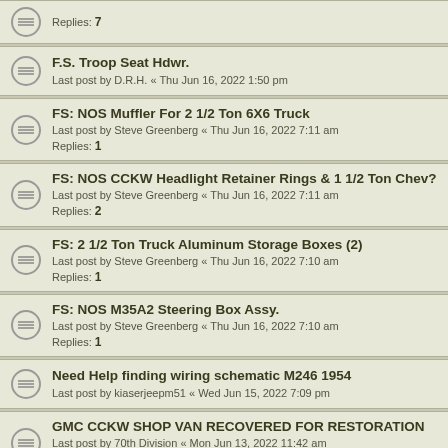Replies: 7
F.S. Troop Seat Hdwr.
Last post by D.R.H. « Thu Jun 16, 2022 1:50 pm
FS: NOS Muffler For 2 1/2 Ton 6X6 Truck
Last post by Steve Greenberg « Thu Jun 16, 2022 7:11 am
Replies: 1
FS: NOS CCKW Headlight Retainer Rings & 1 1/2 Ton Chev?
Last post by Steve Greenberg « Thu Jun 16, 2022 7:11 am
Replies: 2
FS: 2 1/2 Ton Truck Aluminum Storage Boxes (2)
Last post by Steve Greenberg « Thu Jun 16, 2022 7:10 am
Replies: 1
FS: NOS M35A2 Steering Box Assy.
Last post by Steve Greenberg « Thu Jun 16, 2022 7:10 am
Replies: 1
Need Help finding wiring schematic M246 1954
Last post by kiaserjeepm51 « Wed Jun 15, 2022 7:09 pm
GMC CCKW SHOP VAN RECOVERED FOR RESTORATION
Last post by 70th Division « Mon Jun 13, 2022 11:42 am
Replies: 10
I.D. required...Autolite starter motor
Last post by zoob « Sun Jun 12, 2022 1:52 pm
Replies: 2
A 969 rebuild from Downunder.
Last post by 70th Division « Sun Jun 12, 2022 6:24 am
Replies: 1101
FOR SALE M35 CARGO COVERS. Woodland and Desert NOS
Last post by thunder37 « Fri Jun 10, 2022 8:05 pm